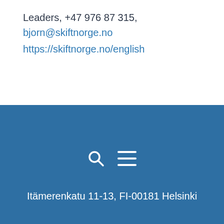Leaders, +47 976 87 315, bjorn@skiftnorge.no https://skiftnorge.no/english
[Figure (infographic): Blue section with a search icon (circle with handle) and a hamburger menu icon (three horizontal lines) centered horizontally]
Itämerenkatu 11-13, FI-00181 Helsinki